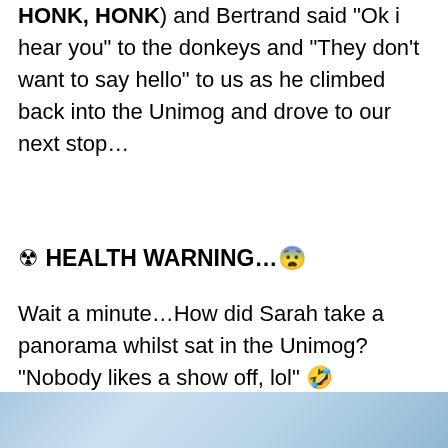HONK, HONK) and Bertrand said “Ok i hear you” to the donkeys and “They don’t want to say hello” to us as he climbed back into the Unimog and drove to our next stop…
☢️ HEALTH WARNING…😨
Wait a minute…How did Sarah take a panorama whilst sat in the Unimog? “Nobody likes a show off, lol” 🤣
[Figure (photo): Partial view of a landscape/sky photo at the bottom of the page, showing blue sky and clouds.]